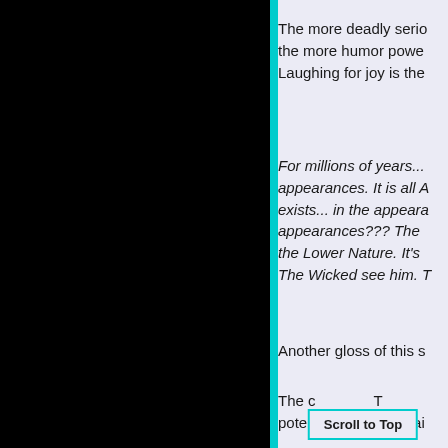The more deadly serio... the more humor powe... Laughing for joy is the...
For millions of years... appearances. It is all A... exists... in the appeara... appearances??? The ... the Lower Nature. It's ... The Wicked see him. T...
Another gloss of this s...
The c... T... potential we are in trai...